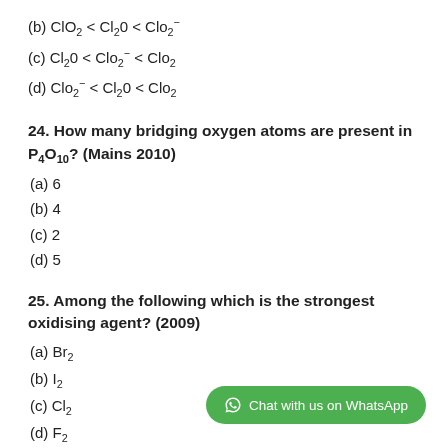(b) ClO2 < Cl2O < ClO2-
(c) Cl2O < ClO2- < ClO2
(d) ClO2- < Cl2O < ClO2
24. How many bridging oxygen atoms are present in P4O10? (Mains 2010)
(a) 6
(b) 4
(c) 2
(d) 5
25. Among the following which is the strongest oxidising agent? (2009)
(a) Br2
(b) I2
(c) Cl2
(d) F2